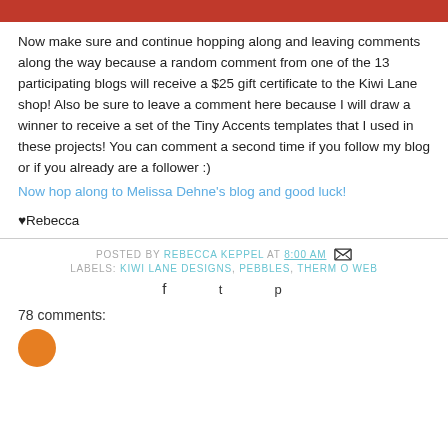[Figure (other): Red banner/bar at the top of the page]
Now make sure and continue hopping along and leaving comments along the way because a random comment from one of the 13 participating blogs will receive a $25 gift certificate to the Kiwi Lane shop! Also be sure to leave a comment here because I will draw a winner to receive a set of the Tiny Accents templates that I used in these projects! You can comment a second time if you follow my blog or if you already are a follower :)
Now hop along to Melissa Dehne's blog and good luck!
♥Rebecca
POSTED BY REBECCA KEPPEL AT 8:00 AM
LABELS: KIWI LANE DESIGNS, PEBBLES, THERM O WEB
78 comments: